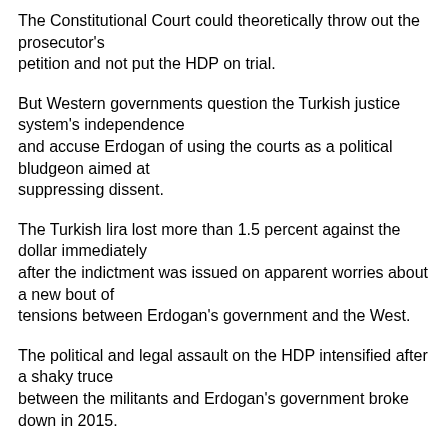The Constitutional Court could theoretically throw out the prosecutor's petition and not put the HDP on trial.
But Western governments question the Turkish justice system's independence and accuse Erdogan of using the courts as a political bludgeon aimed at suppressing dissent.
The Turkish lira lost more than 1.5 percent against the dollar immediately after the indictment was issued on apparent worries about a new bout of tensions between Erdogan's government and the West.
The political and legal assault on the HDP intensified after a shaky truce between the militants and Erdogan's government broke down in 2015.
It grew even stronger after Erdogan survived a failed coup bid in 2016 that